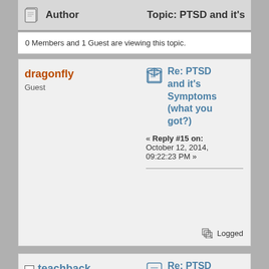Author   Topic: PTSD and it's
0 Members and 1 Guest are viewing this topic.
dragonfly
Guest
Re: PTSD and it's Symptoms (what you got?)
« Reply #15 on: October 12, 2014, 09:22:23 PM »
Logged
teachback
Newbie
Posts: 1042
Karma: +2/-0
Re: PTSD and it's Symptoms (what you got?)
« Reply #16 on: October 13, 2014, 09:56:08 AM »